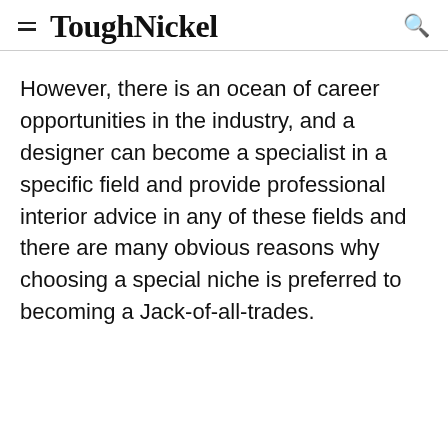ToughNickel
However, there is an ocean of career opportunities in the industry, and a designer can become a specialist in a specific field and provide professional interior advice in any of these fields and there are many obvious reasons why choosing a special niche is preferred to becoming a Jack-of-all-trades.